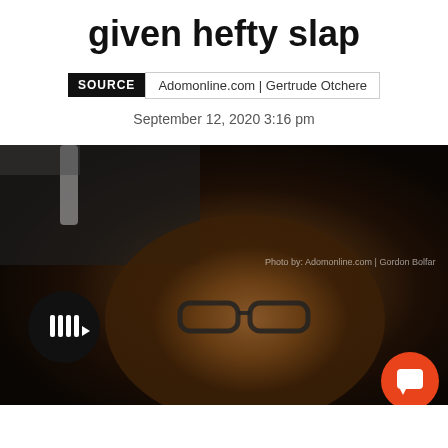given hefty slap
SOURCE   Adomonline.com | Gertrude Otchere
September 12, 2020 3:16 pm
[Figure (photo): A man wearing glasses speaking, with a play button overlay on the left side and an orange chat button on the lower right. Watermark reads: Photo by: Adomonline.com | Gordon Bolfar]